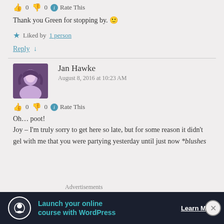👍 0 👎 0 ℹ Rate This
Thank you Green for stopping by. 🙂
★ Liked by 1 person
Reply ↓
Jan Hawke
August 8, 2016 at 10:23 AM
👍 0 👎 0 ℹ Rate This
Oh… poot!
Joy – I'm truly sorry to get here so late, but for some reason it didn't gel with me that you were partying yesterday until just now *blushes
[Figure (screenshot): Advertisement banner: Launch your online course with WordPress – Learn More]